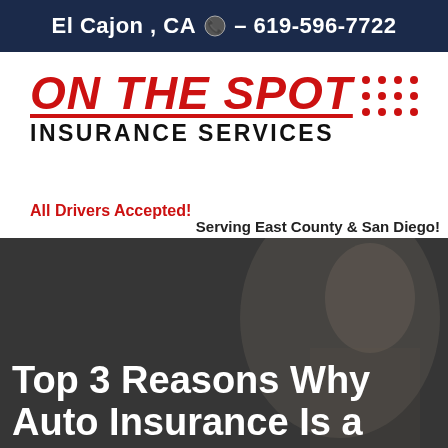El Cajon , CA ☎ - 619-596-7722
[Figure (logo): On The Spot Insurance Services logo with red italic bold text 'ON THE SPOT' underlined and black bold uppercase 'INSURANCE SERVICES' beneath]
All Drivers Accepted!
Serving East County & San Diego!
[Figure (photo): Dark-toned background photo of a woman looking at her phone, partially visible on the right side, with a blurred building/car background]
Top 3 Reasons Why Auto Insurance Is a